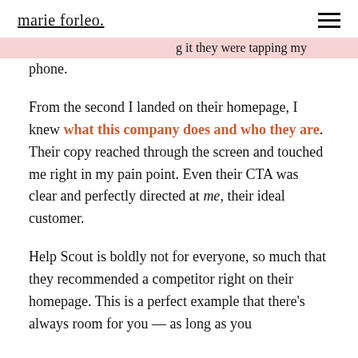marie forleo.
...g it they were tapping my phone.
From the second I landed on their homepage, I knew what this company does and who they are. Their copy reached through the screen and touched me right in my pain point. Even their CTA was clear and perfectly directed at me, their ideal customer.
Help Scout is boldly not for everyone, so much that they recommended a competitor right on their homepage. This is a perfect example that there’s always room for you — as long as you